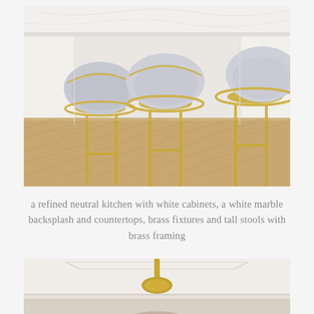[Figure (photo): A refined neutral kitchen with three upholstered barrel-back bar stools with light gray fabric seats and gold/brass metal frames, positioned at a white marble kitchen island. The floor features herringbone wood parquet. White cabinetry and marble backsplash visible in background.]
a refined neutral kitchen with white cabinets, a white marble backsplash and countertops, brass fixtures and tall stools with brass framing
[Figure (photo): Interior room with white decorative crown molding on ceiling, with a brass/gold pendant light partially visible, and a person or furniture element at bottom of frame.]